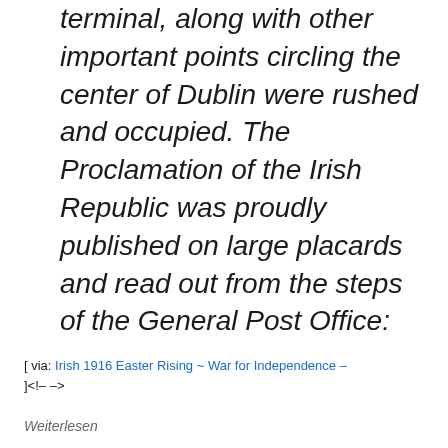terminal, along with other important points circling the center of Dublin were rushed and occupied. The Proclamation of the Irish Republic was proudly published on large placards and read out from the steps of the General Post Office:
[ via: Irish 1916 Easter Rising ~ War for Independence – ]<!-- -->
Weiterlesen